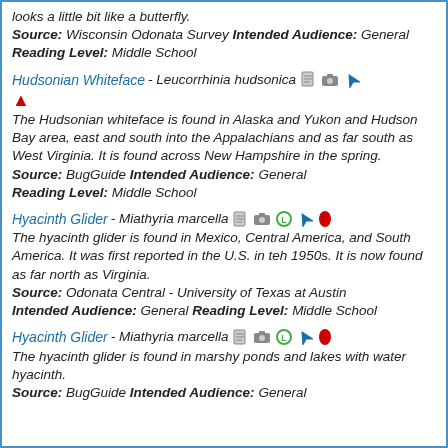looks a little bit like a butterfly. Source: Wisconsin Odonata Survey Intended Audience: General Reading Level: Middle School
Hudsonian Whiteface - Leucorrhinia hudsonica [icons] The Hudsonian whiteface is found in Alaska and Yukon and Hudson Bay area, east and south into the Appalachians and as far south as West Virginia. It is found across New Hampshire in the spring. Source: BugGuide Intended Audience: General Reading Level: Middle School
Hyacinth Glider - Miathyria marcella [icons] The hyacinth glider is found in Mexico, Central America, and South America. It was first reported in the U.S. in teh 1950s. It is now found as far north as Virginia. Source: Odonata Central - University of Texas at Austin Intended Audience: General Reading Level: Middle School
Hyacinth Glider - Miathyria marcella [icons] The hyacinth glider is found in marshy ponds and lakes with water hyacinth. Source: BugGuide Intended Audience: General